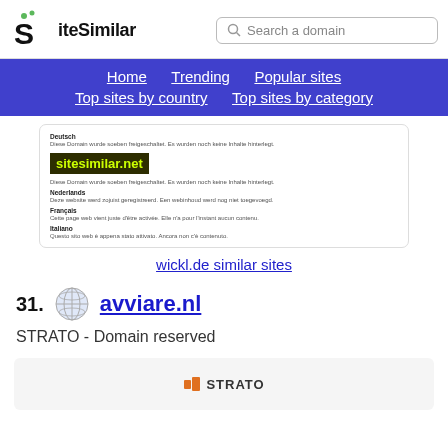SiteSimilar | Search a domain
Home | Trending | Popular sites | Top sites by country | Top sites by category
[Figure (screenshot): Screenshot of sitesimilar.net domain page showing multilingual domain registration messages]
wickl.de similar sites
31. avviare.nl
STRATO - Domain reserved
[Figure (screenshot): STRATO domain reserved page preview]